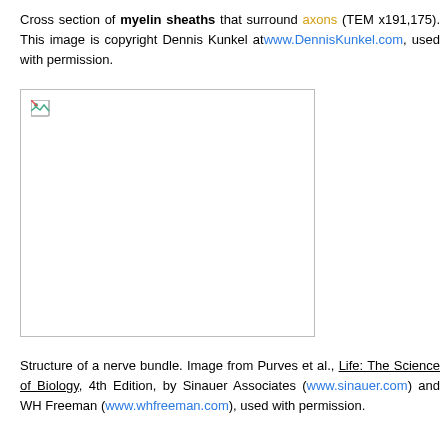Cross section of myelin sheaths that surround axons (TEM x191,175). This image is copyright Dennis Kunkel atwww.DennisKunkel.com, used with permission.
[Figure (photo): Broken/missing image placeholder representing a TEM cross section of myelin sheaths surrounding axons]
Structure of a nerve bundle. Image from Purves et al., Life: The Science of Biology, 4th Edition, by Sinauer Associates (www.sinauer.com) and WH Freeman (www.whfreeman.com), used with permission.